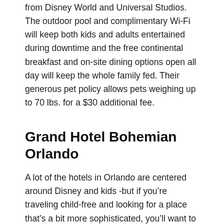from Disney World and Universal Studios. The outdoor pool and complimentary Wi-Fi will keep both kids and adults entertained during downtime and the free continental breakfast and on-site dining options open all day will keep the whole family fed. Their generous pet policy allows pets weighing up to 70 lbs. for a $30 additional fee.
Grand Hotel Bohemian Orlando
A lot of the hotels in Orlando are centered around Disney and kids -but if you’re traveling child-free and looking for a place that’s a bit more sophisticated, you’ll want to book a room at the Grand Hotel Bohemian Orlando. The hotel has an aura of sultry romanticism, achieve with moody